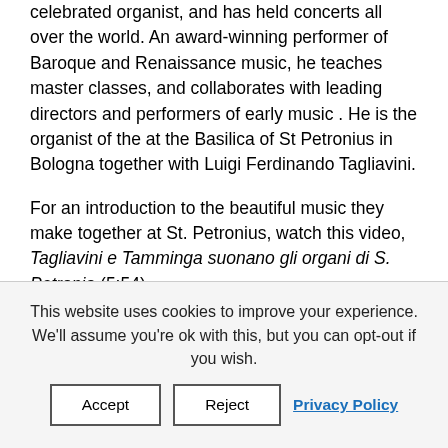Originally from The Netherlands, Liuwe Tamminga is a celebrated organist, and has held concerts all over the world. An award-winning performer of Baroque and Renaissance music, he teaches master classes, and collaborates with leading directors and performers of early music . He is the organist of the at the Basilica of St Petronius in Bologna together with Luigi Ferdinando Tagliavini.
For an introduction to the beautiful music they make together at St. Petronius, watch this video, Tagliavini e Tamminga suonano gli organi di S. Petronio (5:54).
This website uses cookies to improve your experience. We'll assume you're ok with this, but you can opt-out if you wish.